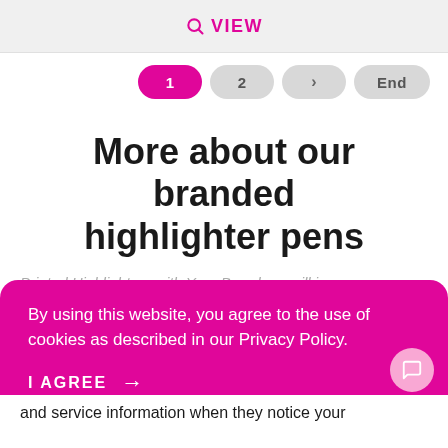VIEW
1  2  >  End
More about our branded highlighter pens
Printed Highlighters with Your Brand on, will increase
By using this website, you agree to the use of cookies as described in our Privacy Policy.

I AGREE →
and service information when they notice your